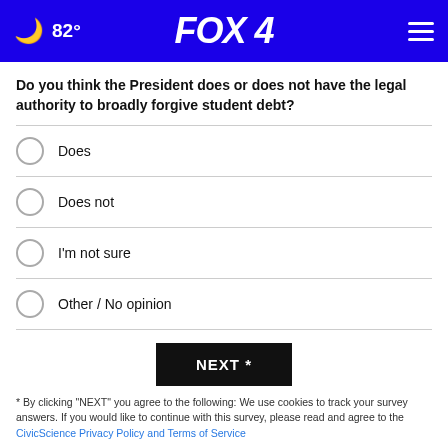🌙 82° FOX 4
Do you think the President does or does not have the legal authority to broadly forgive student debt?
Does
Does not
I'm not sure
Other / No opinion
NEXT *
* By clicking "NEXT" you agree to the following: We use cookies to track your survey answers. If you would like to continue with this survey, please read and agree to the CivicScience Privacy Policy and Terms of Service
[Figure (screenshot): Advertisement banner for Roundup/HDX/Ace weed killer class action settlement]